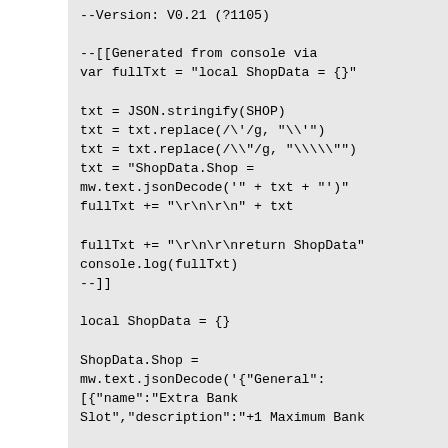--Version: V0.21 (?1105)

--[[Generated from console via
var fullTxt = "local ShopData = {}"

txt = JSON.stringify(SHOP)
txt = txt.replace(/\'/g, "\\'")
txt = txt.replace(/\\"/g, "\\\\"")
txt = "ShopData.Shop =
mw.text.jsonDecode('" + txt + "')"
fullTxt += "\r\n\r\n" + txt

fullTxt += "\r\n\r\nreturn ShopData"
console.log(fullTxt)
--]]

local ShopData = {}

ShopData.Shop =
mw.text.jsonDecode('{"General":
[{"name":"Extra Bank
Slot","description":"+1 Maximum Bank